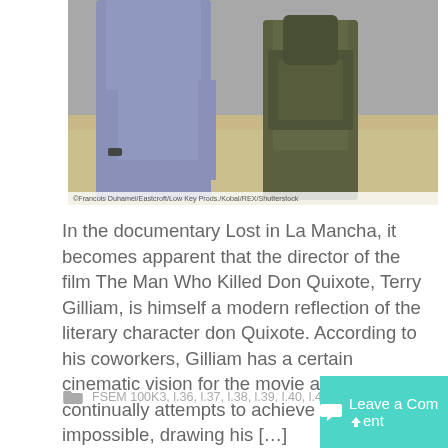[Figure (photo): Two figures standing in a sandy/desert landscape. Left figure wearing purple/grey shirt with watch, right figure in dark camouflage armor costume. Photo credit watermark at bottom.]
©Francois Duhamel/Eastcroft/Low Key Prods./Kobal/REX/Shutterstock
In the documentary Lost in La Mancha, it becomes apparent that the director of the film The Man Who Killed Don Quixote, Terry Gilliam, is himself a modern reflection of the literary character don Quixote. According to his coworkers, Gilliam has a certain cinematic vision for the movie and continually attempts to achieve the impossible, drawing his […]
FSEM 100K3, l.36, l.37, l.38, l.39, l.40, l.41, l.42, l.43, l.44, l.45
Leave a Comment